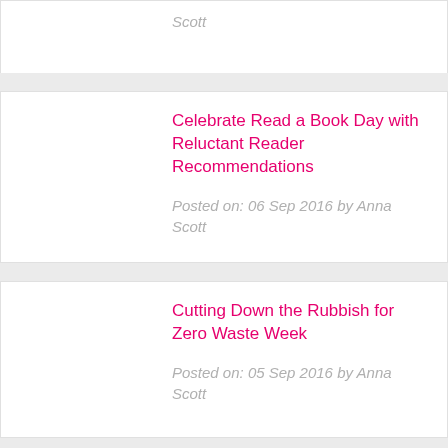Scott
Celebrate Read a Book Day with Reluctant Reader Recommendations
Posted on: 06 Sep 2016 by Anna Scott
Cutting Down the Rubbish for Zero Waste Week
Posted on: 05 Sep 2016 by Anna Scott